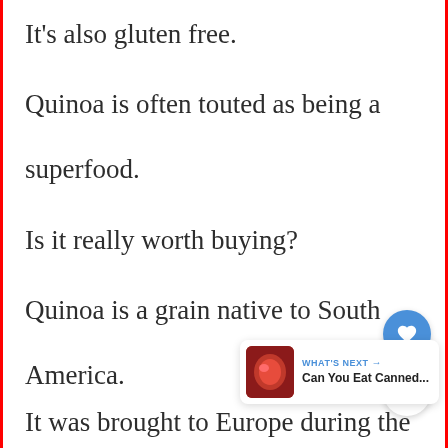It's also gluten free.
Quinoa is often touted as being a superfood.
Is it really worth buying?
Quinoa is a grain native to South America.
It was brought to Europe during the